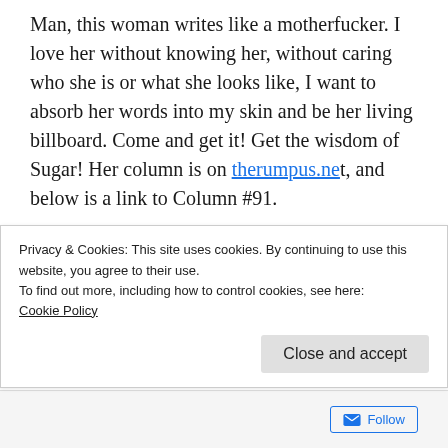Man, this woman writes like a motherfucker. I love her without knowing her, without caring who she is or what she looks like, I want to absorb her words into my skin and be her living billboard. Come and get it! Get the wisdom of Sugar! Her column is on therumpus.net, and below is a link to Column #91.
Advice Like a Motherfucker
This one really kicked my ass, mostly because I
Privacy & Cookies: This site uses cookies. By continuing to use this website, you agree to their use.
To find out more, including how to control cookies, see here:
Cookie Policy
Close and accept